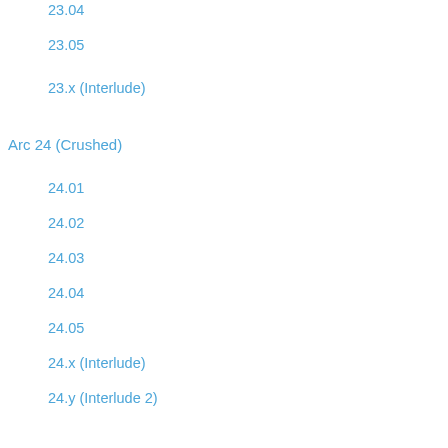23.04
23.05
23.x (Interlude)
Arc 24 (Crushed)
24.01
24.02
24.03
24.04
24.05
24.x (Interlude)
24.y (Interlude 2)
Arc 25 (Scarab)
25.01
25.02
25.03
25.04
25.05
25.06
25.x (Interlude)
Arc 26 (Sting)